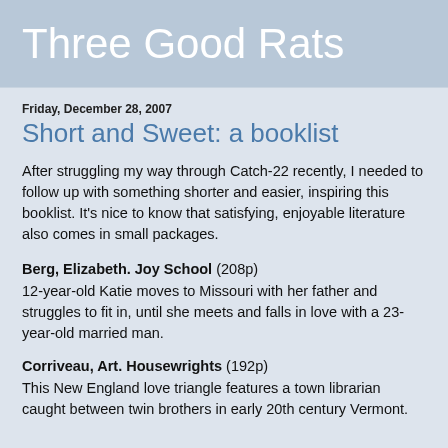Three Good Rats
Friday, December 28, 2007
Short and Sweet: a booklist
After struggling my way through Catch-22 recently, I needed to follow up with something shorter and easier, inspiring this booklist. It's nice to know that satisfying, enjoyable literature also comes in small packages.
Berg, Elizabeth. Joy School (208p)
12-year-old Katie moves to Missouri with her father and struggles to fit in, until she meets and falls in love with a 23-year-old married man.
Corriveau, Art. Housewrights (192p)
This New England love triangle features a town librarian caught between twin brothers in early 20th century Vermont.